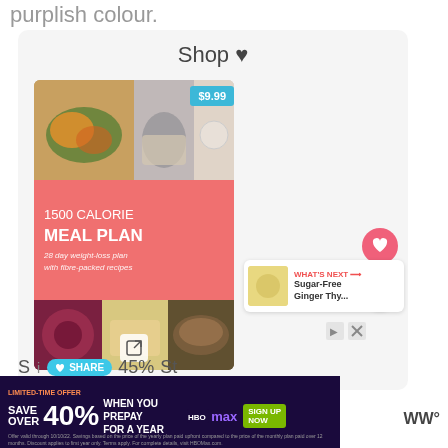purplish colour.
Shop ♥
[Figure (photo): 1500 Calorie Meal Plan product card with food photos, $9.99 price badge, pink section with '1500 CALORIE MEAL PLAN 28 day weight-loss plan with fibre-packed recipes' text, and bottom food photos]
[Figure (screenshot): WHAT'S NEXT arrow, Sugar-Free Ginger Thy... thumbnail with lemon drink image]
[Figure (infographic): HBO Max advertisement: LIMITED-TIME OFFER SAVE OVER 40% WHEN YOU PREPAY FOR A YEAR with SIGN UP NOW button]
Offer valid through 10/10/22. Savings based on the price of the yearly plan paid upfront compared to the price of the monthly plan paid over 12 months. Discount applies to first year only. Terms apply. For complete details, visit HBOMax.com.